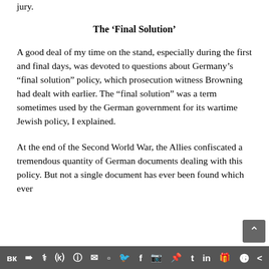jury.
The ‘Final Solution’
A good deal of my time on the stand, especially during the first and final days, was devoted to questions about Germany’s “final solution” policy, which prosecution witness Browning had dealt with earlier. The “final solution” was a term sometimes used by the German government for its wartime Jewish policy, I explained.
At the end of the Second World War, the Allies confiscated a tremendous quantity of German documents dealing with this policy. But not a single document has ever been found which ever
вк ✈ р ⒦ ⓘ ✉ ▣ 🐦 f 📷 📌 t in 🎁 🆆 <